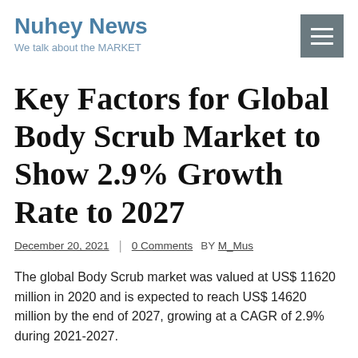Nuhey News
We talk about the MARKET
Key Factors for Global Body Scrub Market to Show 2.9% Growth Rate to 2027
December 20, 2021 | 0 Comments BY M_Mus
The global Body Scrub market was valued at US$ 11620 million in 2020 and is expected to reach US$ 14620 million by the end of 2027, growing at a CAGR of 2.9% during 2021-2027.